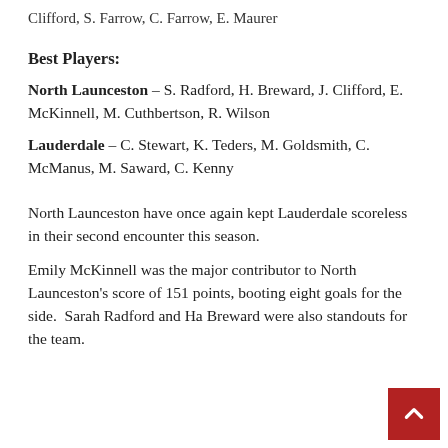Clifford, S. Farrow, C. Farrow, E. Maurer
Best Players:
North Launceston – S. Radford, H. Breward, J. Clifford, E. McKinnell, M. Cuthbertson, R. Wilson
Lauderdale – C. Stewart, K. Teders, M. Goldsmith, C. McManus, M. Saward, C. Kenny
North Launceston have once again kept Lauderdale scoreless in their second encounter this season.
Emily McKinnell was the major contributor to North Launceston's score of 151 points, booting eight goals for the side.  Sarah Radford and Ha Breward were also standouts for the team.